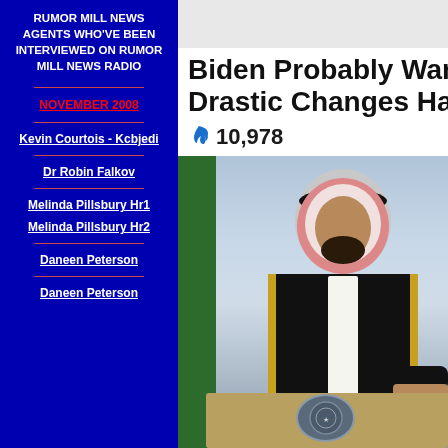RUMOR MILL NEWS AGENTS WHO'VE BEEN INTERVIEWED ON RUMOR MILL NEWS RADIO
NOVEMBER 2008
Kevin Courtois - Kcbjedi
Dr Robin Falkov
Melinda Pillsbury Hr1
Melinda Pillsbury Hr2
Daneen Peterson
Daneen Peterson
Biden Probably Wants Drastic Changes Happen
🔥 10,978
[Figure (photo): A Saudi official in traditional black bisht and red-white keffiyeh standing at a US State Department podium]